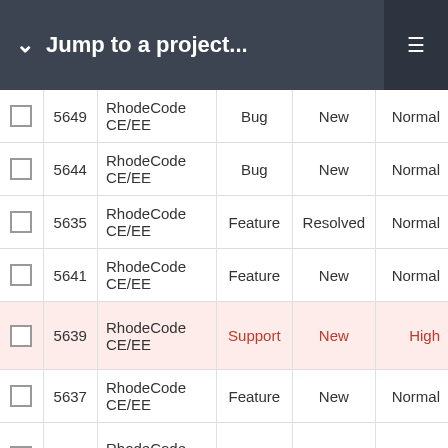Jump to a project...
|  | # | Project | Type | Status | Priority |
| --- | --- | --- | --- | --- | --- |
|  | 5649 | RhodeCode CE/EE | Bug | New | Normal |
|  | 5644 | RhodeCode CE/EE | Bug | New | Normal |
|  | 5635 | RhodeCode CE/EE | Feature | Resolved | Normal |
|  | 5641 | RhodeCode CE/EE | Feature | New | Normal |
|  | 5639 | RhodeCode CE/EE | Support | New | High |
|  | 5637 | RhodeCode CE/EE | Feature | New | Normal |
|  | 5633 | RhodeCode CE/EE | Bug | Resolved | Normal |
|  | 4183 | RhodeCode CE/EE | Feature | Resolved | Normal |
|  | 5634 | RhodeCode CE/EE | Bug | Resolved | Normal |